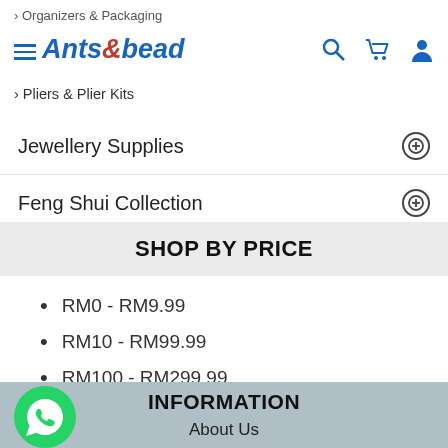> Organizers & Packaging
Ants&bead (logo)
> Pliers & Plier Kits
Jewellery Supplies
Feng Shui Collection
SHOP BY PRICE
RM0 - RM9.99
RM10 - RM99.99
RM100 - RM299.99
RM300 - Onwards
INFORMATION
About Us
Contact Us
Privacy Policy
Terms & Conditions